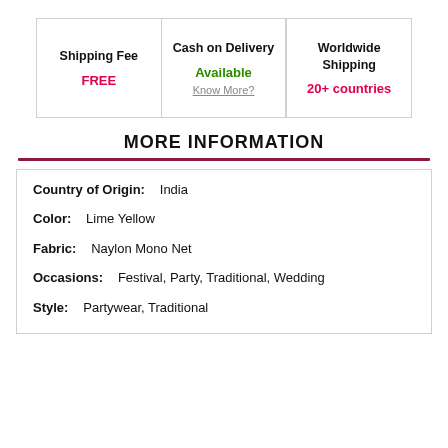| Shipping Fee | Cash on Delivery | Worldwide Shipping |
| --- | --- | --- |
| FREE | Available
Know More? | 20+ countries |
MORE INFORMATION
Country of Origin:   India
Color:   Lime Yellow
Fabric:   Naylon Mono Net
Occasions:   Festival, Party, Traditional, Wedding
Style:   Partywear, Traditional